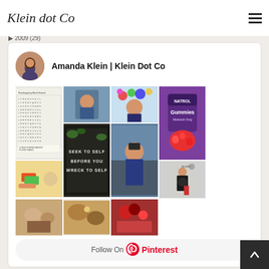Klein dot Co
2011 (80)
2010 (72)
2009 (29)
[Figure (other): Pinterest board widget for Amanda Klein | Klein Dot Co showing a grid of Pinterest images including a Thanksgiving word search, photos of boys, a letter board, gummy vitamins, food and pregnancy photos, with a Follow On Pinterest button at the bottom]
Amanda Klein | Klein Dot Co
Follow On Pinterest